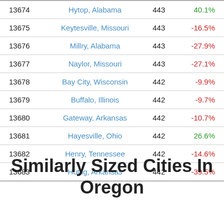| Rank | City | Population | Change |
| --- | --- | --- | --- |
| 13674 | Hytop, Alabama | 443 | 40.1% |
| 13675 | Keytesville, Missouri | 443 | -16.5% |
| 13676 | Millry, Alabama | 443 | -27.9% |
| 13677 | Naylor, Missouri | 443 | -27.1% |
| 13678 | Bay City, Wisconsin | 442 | -9.9% |
| 13679 | Buffalo, Illinois | 442 | -9.7% |
| 13680 | Gateway, Arkansas | 442 | -10.7% |
| 13681 | Hayesville, Ohio | 442 | 26.6% |
| 13682 | Henry, Tennessee | 442 | -14.6% |
| 13683 | Huttig, Arkansas | 442 | -39.5% |
Similarly Sized Cities In Oregon